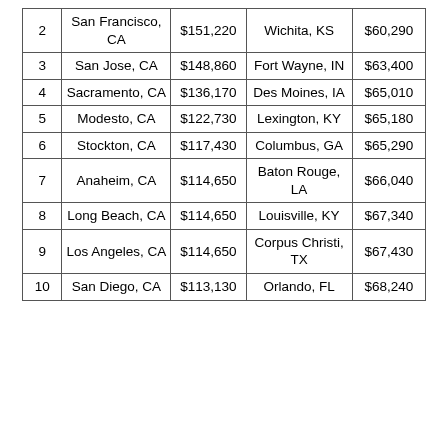| 2 | San Francisco, CA | $151,220 | Wichita, KS | $60,290 |
| 3 | San Jose, CA | $148,860 | Fort Wayne, IN | $63,400 |
| 4 | Sacramento, CA | $136,170 | Des Moines, IA | $65,010 |
| 5 | Modesto, CA | $122,730 | Lexington, KY | $65,180 |
| 6 | Stockton, CA | $117,430 | Columbus, GA | $65,290 |
| 7 | Anaheim, CA | $114,650 | Baton Rouge, LA | $66,040 |
| 8 | Long Beach, CA | $114,650 | Louisville, KY | $67,340 |
| 9 | Los Angeles, CA | $114,650 | Corpus Christi, TX | $67,430 |
| 10 | San Diego, CA | $113,130 | Orlando, FL | $68,240 |